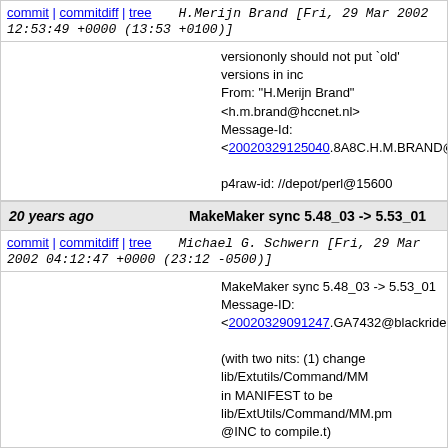commit | commitdiff | tree   H.Merijn Brand [Fri, 29 Mar 2002 12:53:49 +0000 (13:53 +0100)]
versiononly should not put `old' versions in inc
From: "H.Merijn Brand" <h.m.brand@hccnet.nl>
Message-Id: <20020329125040.8A8C.H.M.BRAND@hccne

p4raw-id: //depot/perl@15600
20 years ago   MakeMaker sync 5.48_03 -> 5.53_01
commit | commitdiff | tree   Michael G. Schwern [Fri, 29 Mar 2002 04:12:47 +0000 (23:12 -0500)]
MakeMaker sync 5.48_03 -> 5.53_01
Message-ID: <20020329091247.GA7432@blackrider>

(with two nits: (1) change lib/Extutils/Command/MM in MANIFEST to be lib/ExtUtils/Command/MM.pm @INC to compile.t)

p4raw-id: //depot/perl@15599
20 years ago   Leftovers from Encode 0.99.
commit | commitdiff | tree   Jarkko Hietaniemi [Fri, 29 Mar 2002 11:11:52 +0000 (11:11 +0000)]